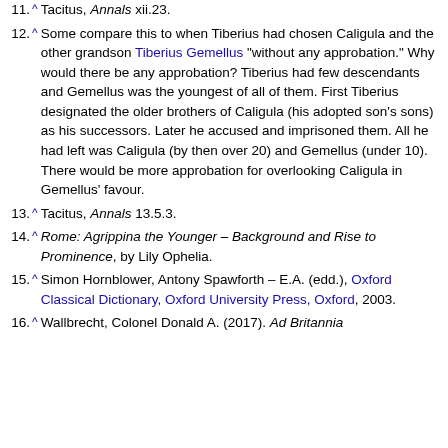11. ^ Tacitus, Annals xii.23.
12. ^ Some compare this to when Tiberius had chosen Caligula and the other grandson Tiberius Gemellus "without any approbation." Why would there be any approbation? Tiberius had few descendants and Gemellus was the youngest of all of them. First Tiberius designated the older brothers of Caligula (his adopted son's sons) as his successors. Later he accused and imprisoned them. All he had left was Caligula (by then over 20) and Gemellus (under 10). There would be more approbation for overlooking Caligula in Gemellus' favour.
13. ^ Tacitus, Annals 13.5.3.
14. ^ Rome: Agrippina the Younger – Background and Rise to Prominence, by Lily Ophelia.
15. ^ Simon Hornblower, Antony Spawforth – E.A. (edd.), Oxford Classical Dictionary, Oxford University Press, Oxford, 2003.
16. ^ Wallbrecht, Colonel Donald A. (2017). Ad Britannia...